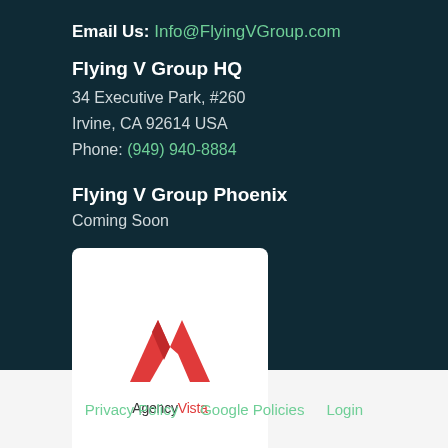Email Us: Info@FlyingVGroup.com
Flying V Group HQ
34 Executive Park, #260
Irvine, CA 92614 USA
Phone: (949) 940-8884
Flying V Group Phoenix
Coming Soon
[Figure (logo): AgencyVista Verified Agency 2022 badge card with red AV logo]
Privacy Policy   Google Policies   Login